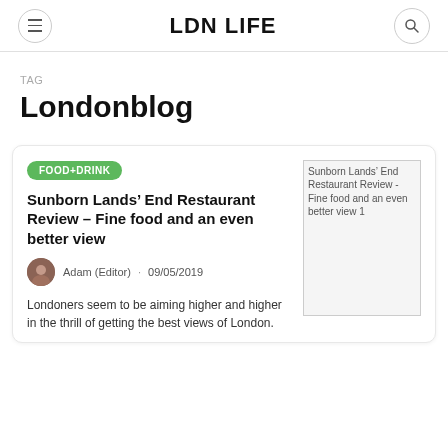LDN LIFE
TAG
Londonblog
FOOD+DRINK
Sunborn Lands’ End Restaurant Review – Fine food and an even better view
Adam (Editor) · 09/05/2019
[Figure (photo): Sunborn Lands' End Restaurant Review - Fine food and an even better view 1 (image placeholder)]
Londoners seem to be aiming higher and higher in the thrill of getting the best views of London.